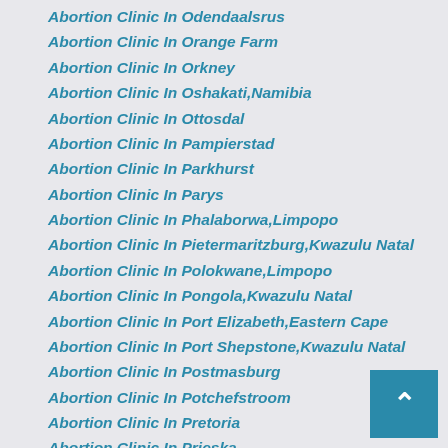Abortion Clinic In Odendaalsrus
Abortion Clinic In Orange Farm
Abortion Clinic In Orkney
Abortion Clinic In Oshakati,Namibia
Abortion Clinic In Ottosdal
Abortion Clinic In Pampierstad
Abortion Clinic In Parkhurst
Abortion Clinic In Parys
Abortion Clinic In Phalaborwa,Limpopo
Abortion Clinic In Pietermaritzburg,Kwazulu Natal
Abortion Clinic In Polokwane,Limpopo
Abortion Clinic In Pongola,Kwazulu Natal
Abortion Clinic In Port Elizabeth,Eastern Cape
Abortion Clinic In Port Shepstone,Kwazulu Natal
Abortion Clinic In Postmasburg
Abortion Clinic In Potchefstroom
Abortion Clinic In Pretoria
Abortion Clinic In Prieska
Abortion Clinic In Queenstown,Eastern Cape